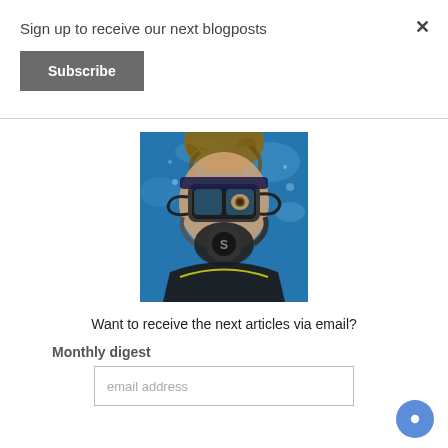Sign up to receive our next blogposts
Subscribe
[Figure (photo): A scuba diver underwater, wearing a diving mask and breathing apparatus, with hair flowing upward in blue water]
Want to receive the next articles via email?
Monthly digest
email address